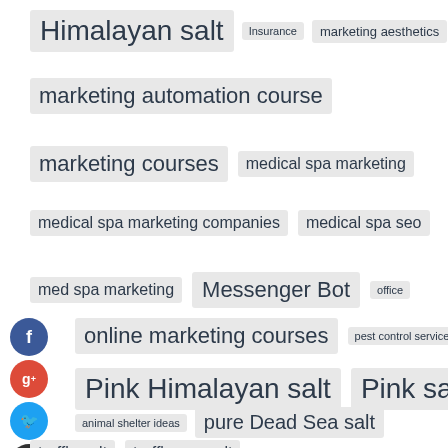Himalayan salt
Insurance
marketing aesthetics
marketing automation course
marketing courses
medical spa marketing
medical spa marketing companies
medical spa seo
med spa marketing
Messenger Bot
office
online marketing courses
pest control services
Pink Himalayan salt
Pink salt
animal shelter ideas
pure Dead Sea salt
truffle salt
truffle sea salt